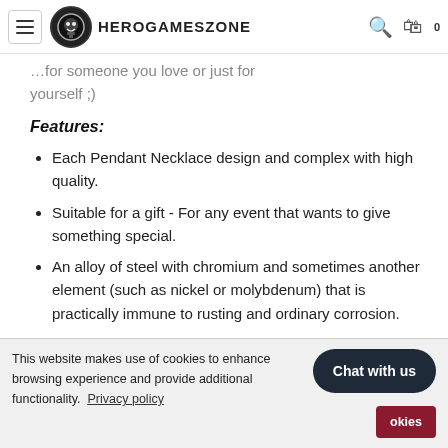HeroGamesZone
...for someone you love or just for yourself ;)
Features:
Each Pendant Necklace design and complex with high quality.
Suitable for a gift - For any event that wants to give something special.
An alloy of steel with chromium and sometimes another element (such as nickel or molybdenum) that is practically immune to rusting and ordinary corrosion.
This website makes use of cookies to enhance browsing experience and provide additional functionality.  Privacy policy
starts as soon as your order is placed and may have